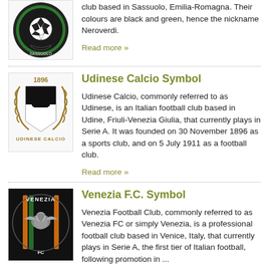[Figure (logo): Sassuolo FC club crest - black and green circular badge with soccer ball]
club based in Sassuolo, Emilia-Romagna. Their colours are black and green, hence the nickname Neroverdi.
Read more »
[Figure (logo): Udinese Calcio club crest - black and white shield with gold laurel wreath and 1896 text]
Udinese Calcio Symbol
Udinese Calcio, commonly referred to as Udinese, is an Italian football club based in Udine, Friuli-Venezia Giulia, that currently plays in Serie A. It was founded on 30 November 1896 as a sports club, and on 5 July 1911 as a football club.
Read more »
[Figure (logo): Venezia FC club crest - black circular badge with winged lion and orange/green stripes]
Venezia F.C. Symbol
Venezia Football Club, commonly referred to as Venezia FC or simply Venezia, is a professional football club based in Venice, Italy, that currently plays in Serie A, the first tier of Italian football, following promotion in ...